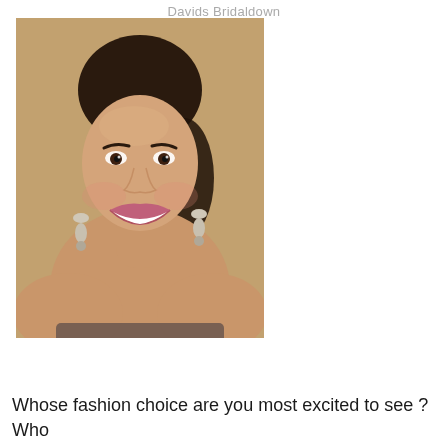Davids Bridaldown
[Figure (photo): A smiling woman with dark hair pulled back, wearing drop earrings, photographed from the shoulders up against a beige/tan background.]
Whose fashion choice are you most excited to see ? Who